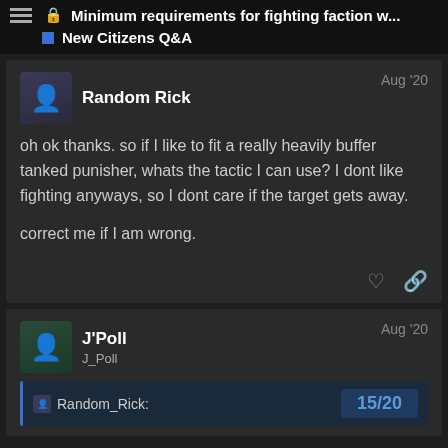Minimum requirements for fighting faction w... — New Citizens Q&A
Random Rick — Aug '20
oh ok thanks. so if I like to fit a really heavily buffer tanked punisher, whats the tactic I can use? I dont like fighting anyways, so I dont care if the target gets away.

correct me if I am wrong.
J'Poll — J_Poll — Aug '20
Random_Rick: 15/20